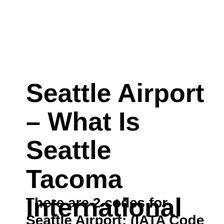Seattle Airport – What Is Seattle Tacoma International Airport Code?
There are 2 codes for Seattle Airport: (IATA Code and